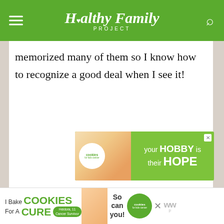Healthy Family PROJECT
memorized many of them so I know how to recognize a good deal when I see it!
[Figure (illustration): Advertisement banner for Cookies for Kids Cancer: 'your HOBBY is their HOPE' with green background and cookie image]
[Figure (illustration): Social interaction buttons: heart/like button and share button with count 3]
[Figure (illustration): What's Next widget showing 'Summer Replay:...' with thumbnail]
[Figure (illustration): Bottom banner ad: 'I Bake COOKIES For A CURE - Heidora, 11 Cancer Survivor - So can you! cookies for kids cancer']